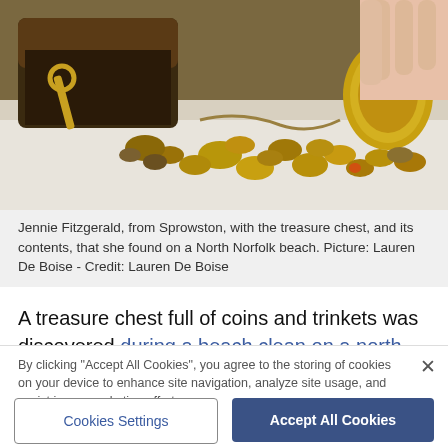[Figure (photo): A treasure chest open, spilling out old coins, trinkets, and a key onto a white cloth. A person's hands are visible at the top right of the image.]
Jennie Fitzgerald, from Sprowston, with the treasure chest, and its contents, that she found on a North Norfolk beach. Picture: Lauren De Boise - Credit: Lauren De Boise
A treasure chest full of coins and trinkets was discovered during a beach clean on a north Norfolk beach in March 2022.
By clicking "Accept All Cookies", you agree to the storing of cookies on your device to enhance site navigation, analyze site usage, and assist in our marketing efforts.